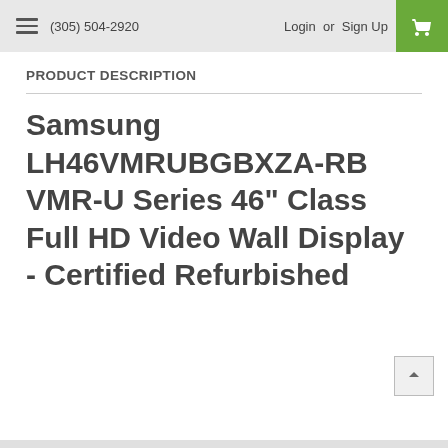(305) 504-2920  Login or Sign Up
PRODUCT DESCRIPTION
Samsung LH46VMRUBGBXZA-RB VMR-U Series 46" Class Full HD Video Wall Display - Certified Refurbished